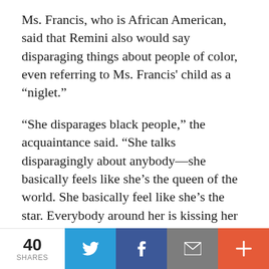Ms. Francis, who is African American, said that Remini also would say disparaging things about people of color, even referring to Ms. Francis' child as a “niglet.”
“She disparages black people,” the acquaintance said. “She talks disparagingly about anybody—she basically feels like she’s the queen of the world. She basically feel like she’s the star. Everybody around her is kissing her butt and she just says disparaging things about people all the time.”
Another former acquaintance recalls seeing Remini’s wrath up close on a Hollywood set when the actress had a major blowup with a director. “She was acting very mean and pretty awful,” actress Shannon Burwell said. “And they actually
40 SHARES